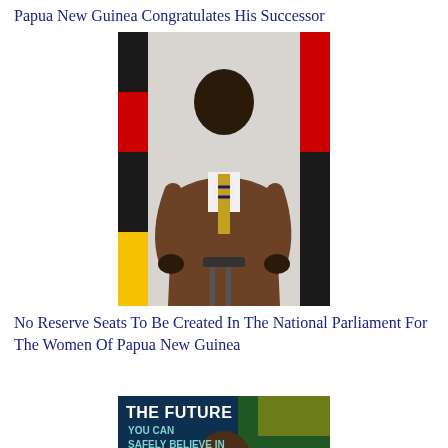Papua New Guinea Congratulates His Successor
[Figure (photo): A man in a brown suit speaking at a podium with Papua New Guinea flags in the background]
No Reserve Seats To Be Created In The National Parliament For The Women Of Papua New Guinea
[Figure (photo): A man seated with text overlay reading 'THE FUTURE YOU CAN SAFELY BELIEVE IN' and 'TEAM LINO 2022 and BEYOND' at the bottom]